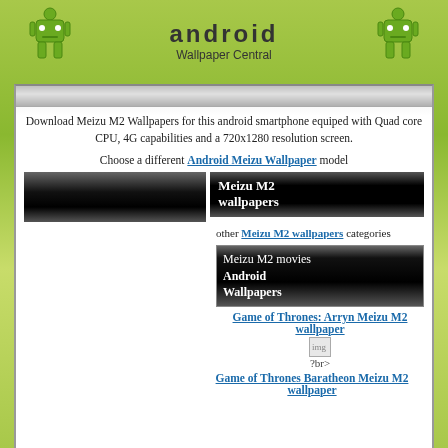android Wallpaper Central
Download Meizu M2 Wallpapers for this android smartphone equiped with Quad core CPU, 4G capabilities and a 720x1280 resolution screen.
Choose a different Android Meizu Wallpaper model
[Figure (screenshot): Black gradient banner rectangle (left column)]
Meizu M2 wallpapers
other Meizu M2 wallpapers categories
Meizu M2 movies Android Wallpapers
Game of Thrones: Arryn Meizu M2 wallpaper
[Figure (photo): Broken image icon with ?br> text]
Game of Thrones Baratheon Meizu M2 wallpaper